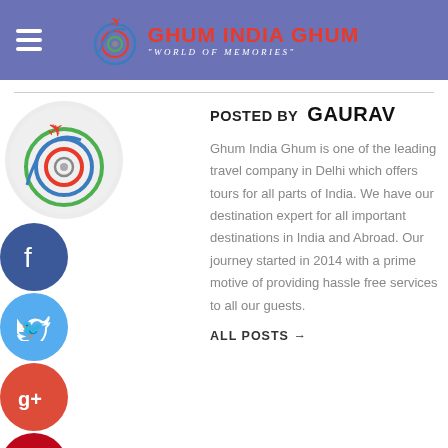GHUM INDIA GHUM — "World of Memories"
[Figure (logo): Ghum India Ghum logo with spiral travel icon and plane, red brand name text, white tagline 'World of Memories']
[Figure (illustration): Circular author avatar with Ghum India Ghum spiral logo design in tricolor (green, blue, red) and a red airplane]
[Figure (infographic): Social media icons stacked vertically: Facebook (blue), Twitter (light blue), Google+ (red), Pinterest (red), LinkedIn (blue)]
POSTED BY GAURAV
Ghum India Ghum is one of the leading travel company in Delhi which offers tours for all parts of India. We have our destination expert for all important destinations in India and Abroad. Our journey started in 2014 with a prime motive of providing hassle free services to all our guests.
ALL POSTS →